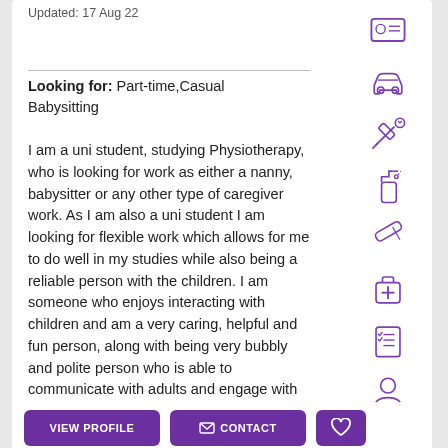Updated: 17 Aug 22
Looking for: Part-time,Casual Babysitting
I am a uni student, studying Physiotherapy, who is looking for work as either a nanny, babysitter or any other type of caregiver work. As I am also a uni student I am looking for flexible work which allows for me to do well in my studies while also being a reliable person with the children. I am someone who enjoys interacting with children and am a very caring, helpful and fun person, along with being very bubbly and polite person who is able to communicate with adults and engage with children making activities fun and enjoyable for all
[Figure (illustration): Right sidebar with purple outline icons: ID card, car, syringe/medical, spray bottle, eraser/pencil, first aid kit, checklist, person/user]
VIEW PROFILE   CONTACT